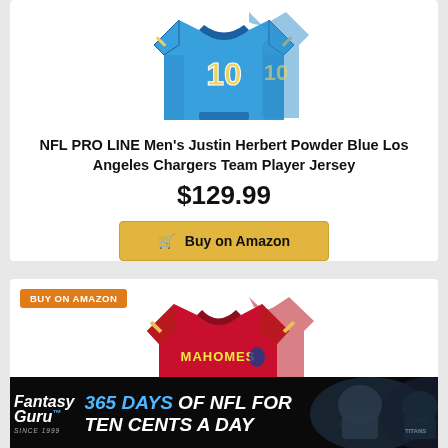[Figure (photo): NFL PRO LINE Justin Herbert powder blue Los Angeles Chargers jersey #10, shown from front and slightly angled]
NFL PRO LINE Men's Justin Herbert Powder Blue Los Angeles Chargers Team Player Jersey
$129.99
Buy on Amazon
BUY ON AMAZON
[Figure (photo): Patrick Mahomes Kansas City Chiefs red jersey #15, shown from front and slightly angled]
[Figure (photo): FantasyGuru advertisement banner: 365 DAYS OF NFL FOR TEN CENTS A DAY with football players in background]